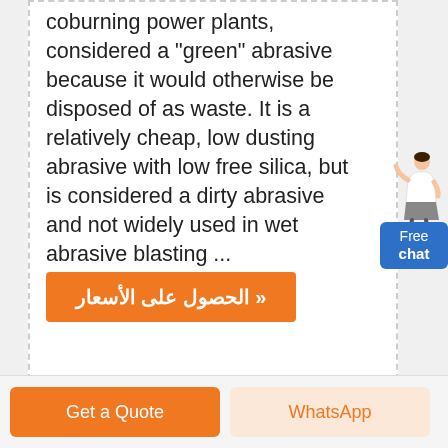coburning power plants, considered a "green" abrasive because it would otherwise be disposed of as waste. It is a relatively cheap, low dusting abrasive with low free silica, but is considered a dirty abrasive and not widely used in wet abrasive blasting ...
[Figure (illustration): Button with Arabic text meaning 'Get Prices' with a right-pointing chevron, orange background]
[Figure (illustration): Free chat widget with a person figure and blue button labeled 'Free chat']
Get a Quote
WhatsApp